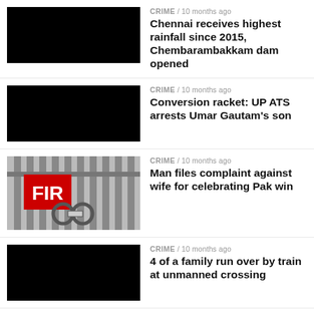[Figure (photo): Black thumbnail image for Chennai rainfall news]
CRIME / 10 months ago
Chennai receives highest rainfall since 2015, Chembarambakkam dam opened
[Figure (photo): Black thumbnail image for Umar Gautam news]
CRIME / 10 months ago
Conversion racket: UP ATS arrests Umar Gautam's son
[Figure (photo): FIR complaint image with prison bars and handcuffs]
CRIME / 10 months ago
Man files complaint against wife for celebrating Pak win
[Figure (photo): Black thumbnail image for train crossing news]
CRIME / 10 months ago
4 of a family run over by train at unmanned crossing
[Figure (photo): Black thumbnail image for rape murder news]
CRIME / 10 months ago
Accused gets death for rape, murder of minor in UP